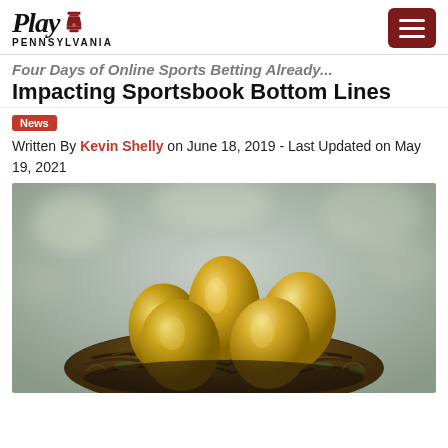Play Pennsylvania
Four Days of Online Sports Betting Already Impacting Sportsbook Bottom Lines
News
Written By Kevin Shelly on June 18, 2019 - Last Updated on May 19, 2021
[Figure (photo): Five golden eggs sitting in a nest made of moss and twigs, with a blurred natural background]